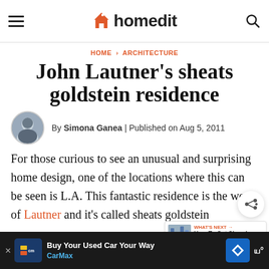homedit
HOME › ARCHITECTURE
John Lautner's sheats goldstein residence
By Simona Ganea | Published on Aug 5, 2011
For those curious to see an unusual and surprising home design, one of the locations where this can be seen is L.A. This fantastic residence is the work of Lautner and it's called sheats goldstein
[Figure (other): Advertisement banner - CarMax Buy Your Used Car Your Way]